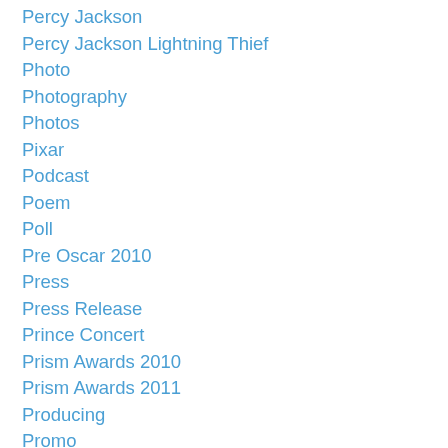Percy Jackson
Percy Jackson Lightning Thief
Photo
Photography
Photos
Pixar
Podcast
Poem
Poll
Pre Oscar 2010
Press
Press Release
Prince Concert
Prism Awards 2010
Prism Awards 2011
Producing
Promo
Prop Items
Ptsd
Publicity
Publicity Photos